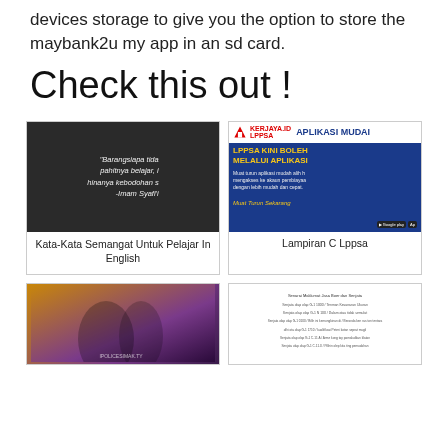devices storage to give you the option to store the maybank2u my app in an sd card.
Check this out !
[Figure (photo): Dark background image with a quote in Malay text: 'Barangsiapa tida pahitnya belajar, i hinanya kebodohan s -Imam Syafi'i']
Kata-Kata Semangat Untuk Pelajar In English
[Figure (screenshot): LPPSA app advertisement showing APLIKASI MUDAH header, blue background with yellow text 'LPPSA KINI BOLEH MELALUI APLIKASI', subtitle text about downloading the app, and Google Play/App Store buttons]
Lampiran C Lppsa
[Figure (photo): Two people (couple) in warm golden/purple lighting, website watermark at bottom]
[Figure (screenshot): White page with small Malay text listing items, appears to be a document or list]